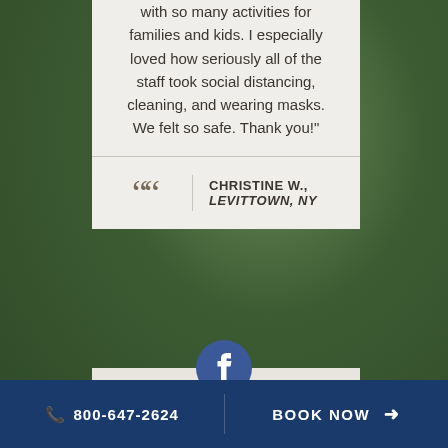with so many activities for families and kids. I especially loved how seriously all of the staff took social distancing, cleaning, and wearing masks. We felt so safe. Thank you!"
CHRISTINE W., LEVITTOWN, NY
[Figure (logo): Facebook logo icon - blue circle with white f]
800-647-2624
BOOK NOW →